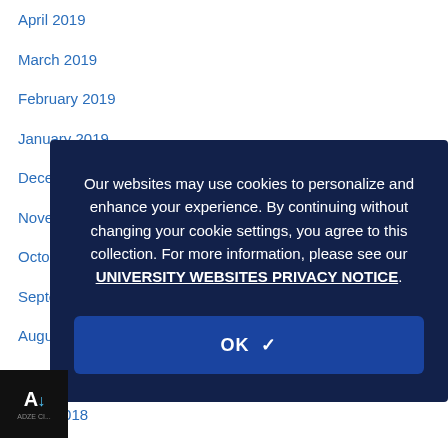April 2019
March 2019
February 2019
January 2019
December 2018
November 2018
October 2018
September 2018
August 2018
July 2018
June 2018
May 2018
April 2018
March 2018
February 2018
Our websites may use cookies to personalize and enhance your experience. By continuing without changing your cookie settings, you agree to this collection. For more information, please see our UNIVERSITY WEBSITES PRIVACY NOTICE.